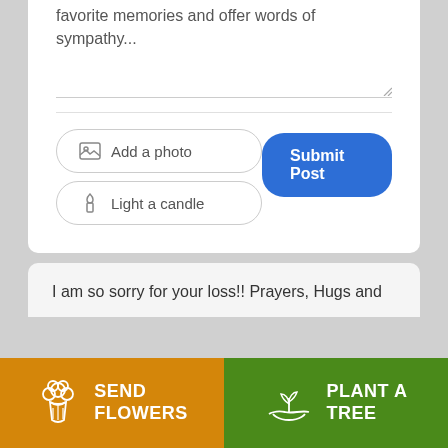favorite memories and offer words of sympathy...
[Figure (screenshot): Textarea input field with resize handle, a divider line below]
[Figure (screenshot): Add a photo button (outlined pill) with image icon]
[Figure (screenshot): Light a candle button (outlined pill) with flame icon]
[Figure (screenshot): Submit Post button (blue rounded rectangle)]
I am so sorry for your loss!! Prayers, Hugs and
[Figure (screenshot): SEND FLOWERS button (orange) with flower bouquet icon]
[Figure (screenshot): PLANT A TREE button (green) with plant/hand icon]